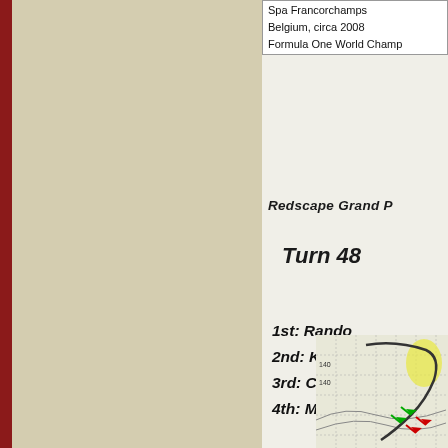Spa Francorchamps
Belgium, circa 2008
Formula One World Champ
Redscape Grand P
Turn 48
1st: Rando
2nd: Kal
3rd: Cody
4th: Mike
[Figure (map): Bottom-right corner of a racing track map showing contour lines, grid, and race position arrows in green and red]